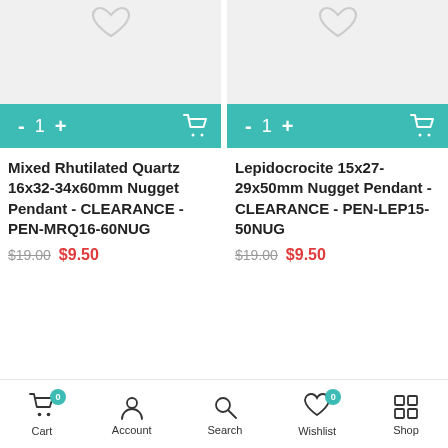[Figure (screenshot): Product image placeholder with heart/wishlist icon for Mixed Rhutilated Quartz pendant]
[Figure (screenshot): Product image placeholder with heart/wishlist icon for Lepidocrocite pendant]
Mixed Rhutilated Quartz 16x32-34x60mm Nugget Pendant - CLEARANCE - PEN-MRQ16-60NUG
$19.00 $9.50
Lepidocrocite 15x27-29x50mm Nugget Pendant - CLEARANCE - PEN-LEP15-50NUG
$19.00 $9.50
Cart 0  Account  Search  Wishlist 0  Shop